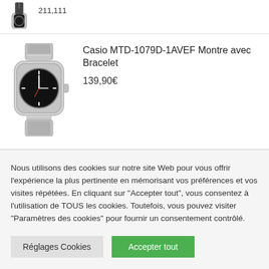[Figure (photo): Partial view of a watch with rubber strap, cropped at top]
211,111
[Figure (photo): Casio MTD-1079D-1AVEF watch with silver metal bracelet and black dial]
Casio MTD-1079D-1AVEF Montre avec Bracelet
139,90€
Nous utilisons des cookies sur notre site Web pour vous offrir l'expérience la plus pertinente en mémorisant vos préférences et vos visites répétées. En cliquant sur "Accepter tout", vous consentez à l'utilisation de TOUS les cookies. Toutefois, vous pouvez visiter "Paramètres des cookies" pour fournir un consentement contrôlé.
Réglages Cookies
Accepter tout